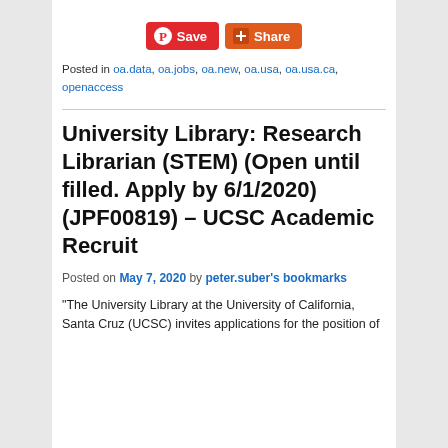[Figure (other): Save and Share buttons (Pinterest Save button in red, Share button in orange-red)]
Posted in oa.data, oa.jobs, oa.new, oa.usa, oa.usa.ca, openaccess
University Library: Research Librarian (STEM) (Open until filled. Apply by 6/1/2020) (JPF00819) – UCSC Academic Recruit
Posted on May 7, 2020 by peter.suber's bookmarks
“The University Library at the University of California, Santa Cruz (UCSC) invites applications for the position of